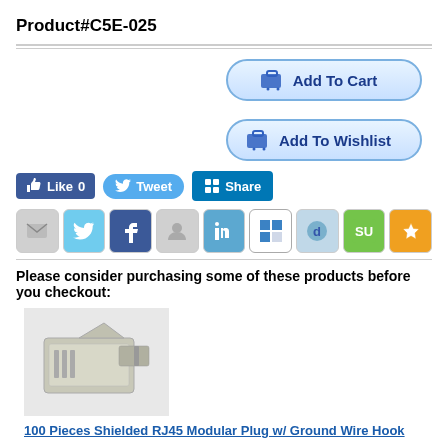Product#C5E-025
[Figure (screenshot): Add To Cart and Add To Wishlist buttons styled with rounded border and shopping cart icon]
[Figure (screenshot): Social sharing buttons: Like 0 (Facebook), Tweet (Twitter), Share (LinkedIn)]
[Figure (screenshot): Row of 9 social media icon buttons: email, Twitter, Facebook, Google+, LinkedIn, Delicious, Digg, StumbleUpon, Favorites star]
Please consider purchasing some of these products before you checkout:
[Figure (photo): Product photo of a shielded RJ45 modular plug connector]
100 Pieces Shielded RJ45 Modular Plug w/ Ground Wire Hook